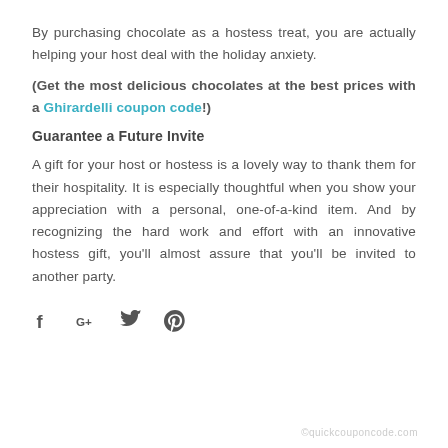By purchasing chocolate as a hostess treat, you are actually helping your host deal with the holiday anxiety.
(Get the most delicious chocolates at the best prices with a Ghirardelli coupon code!)
Guarantee a Future Invite
A gift for your host or hostess is a lovely way to thank them for their hospitality. It is especially thoughtful when you show your appreciation with a personal, one-of-a-kind item. And by recognizing the hard work and effort with an innovative hostess gift, you'll almost assure that you'll be invited to another party.
[Figure (infographic): Social media sharing icons: Facebook (f), Google+ (G+), Twitter (bird), Pinterest (P)]